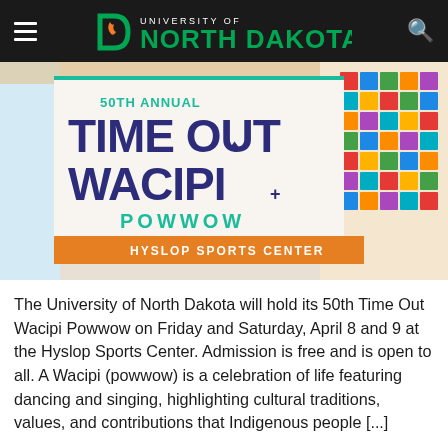University of North Dakota
[Figure (illustration): 50th Annual Time Out Wacipi Powwow event poster showing colorful beadwork background with event title text in teal and dark blue/purple, subtitle 'POWWOW' in teal, and orange banner reading 'HYSLOP SPORTS CENTER']
The University of North Dakota will hold its 50th Time Out Wacipi Powwow on Friday and Saturday, April 8 and 9 at the Hyslop Sports Center. Admission is free and is open to all. A Wacipi (powwow) is a celebration of life featuring dancing and singing, highlighting cultural traditions, values, and contributions that Indigenous people [...]